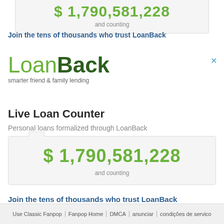[Figure (screenshot): Partial top counter box showing a large green dollar amount (partially cut off at top) and 'and counting' text below it]
Join the tens of thousands who trust LoanBack
[Figure (logo): LoanBack logo with green 'Loan' and dark green 'Back' text, tagline 'smarter friend & family lending']
Live Loan Counter
Personal loans formalized through LoanBack
[Figure (screenshot): Counter box showing $ 1,790,581,228 and counting]
Join the tens of thousands who trust LoanBack
Use Classic Fanpop | Fanpop Home | DMCA | anunciar | condições de servico